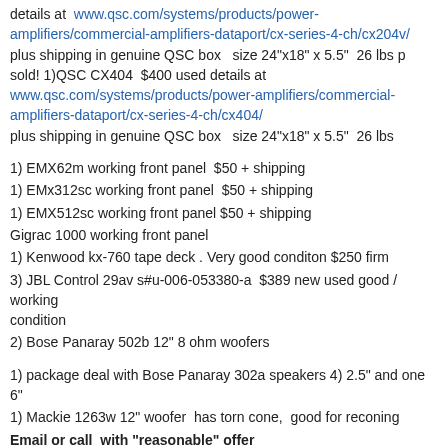details at  www.qsc.com/systems/products/power-amplifiers/commercial-amplifiers-dataport/cx-series-4-ch/cx204v/
plus shipping in genuine QSC box   size 24"x18" x 5.5"  26 lbs p
sold! 1)QSC CX404  $400 used details at
www.qsc.com/systems/products/power-amplifiers/commercial-amplifiers-dataport/cx-series-4-ch/cx404/
plus shipping in genuine QSC box   size 24"x18" x 5.5"  26 lbs
1) EMX62m working front panel  $50 + shipping
1) EMx312sc working front panel  $50 + shipping
1) EMX512sc working front panel $50 + shipping
Gigrac 1000 working front panel
1) Kenwood kx-760 tape deck . Very good conditon $250 firm
3) JBL Control 29av s#u-006-053380-a  $389 new used good / working condition
2) Bose Panaray 502b 12" 8 ohm woofers
1) package deal with Bose Panaray 302a speakers 4) 2.5" and one 6"
1) Mackie 1263w 12" woofer  has torn cone,  good for reconing
Email or call  with "reasonable" offer